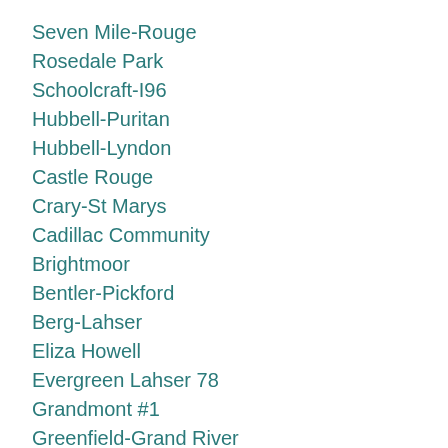Seven Mile-Rouge
Rosedale Park
Schoolcraft-I96
Hubbell-Puritan
Hubbell-Lyndon
Castle Rouge
Crary-St Marys
Cadillac Community
Brightmoor
Bentler-Pickford
Berg-Lahser
Eliza Howell
Evergreen Lahser 78
Grandmont #1
Greenfield-Grand River
Grandmont
Grand River-St Marys
Evergreen-Outer Drive
Five Points